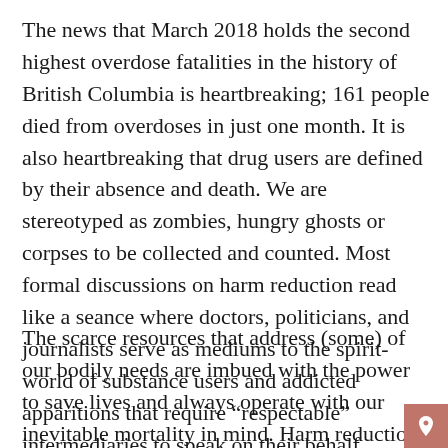The news that March 2018 holds the second highest overdose fatalities in the history of British Columbia is heartbreaking; 161 people died from overdoses in just one month. It is also heartbreaking that drug users are defined by their absence and death. We are stereotyped as zombies, hungry ghosts or corpses to be collected and counted. Most formal discussions on harm reduction read like a seance where doctors, politicians, and journalists serve as mediums to the spirit-world of substance users and addicted apparitions that require “respectable” intermediaries to speak on their behalf.
The scarce resources that address (some) of our bodily needs are imbued with the power to save lives and always operate with our inevitable mortality in mind. Harm reduction is riddled with phrases like “You can’t treat the dead”, as if support for drug users must be